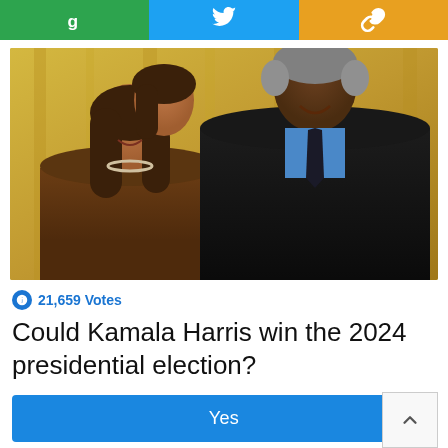[Figure (other): Three social share buttons: a green button with a 'g' logo, a blue Twitter button, and a gold share/link button]
[Figure (photo): Photo of two people smiling together in front of a golden/yellow curtain backdrop, both well-dressed]
21,659 Votes
Could Kamala Harris win the 2024 presidential election?
Yes